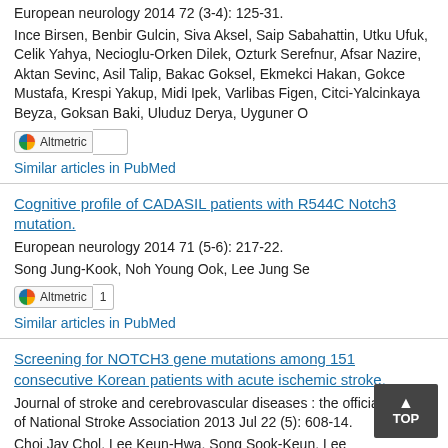European neurology 2014 72 (3-4): 125-31.
Ince Birsen, Benbir Gulcin, Siva Aksel, Saip Sabahattin, Utku Ufuk, Celik Yahya, Necioglu-Orken Dilek, Ozturk Serefnur, Afsar Nazire, Aktan Sevinc, Asil Talip, Bakac Goksel, Ekmekci Hakan, Gokce Mustafa, Krespi Yakup, Midi Ipek, Varlibas Figen, Citci-Yalcinkaya Beyza, Goksan Baki, Uluduz Derya, Uyguner O
Similar articles in PubMed
Cognitive profile of CADASIL patients with R544C Notch3 mutation.
European neurology 2014 71 (5-6): 217-22.
Song Jung-Kook, Noh Young Ook, Lee Jung Se
Similar articles in PubMed
Screening for NOTCH3 gene mutations among 151 consecutive Korean patients with acute ischemic stroke.
Journal of stroke and cerebrovascular diseases : the official journal of National Stroke Association 2013 Jul 22 (5): 608-14.
Choi Jay Chol, Lee Keun-Hwa, Song Sook-Keun, Lee Jung Se, Kang Sa-Yoon, Kang Ji-Ho
Altmetric